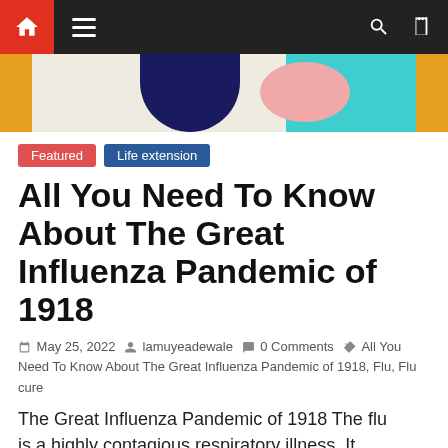Navigation bar with home, menu, search, and shuffle icons
[Figure (illustration): Colorful abstract illustration strip with navy, pink, teal shapes and yellow side bars]
Featured
Life extension
All You Need To Know About The Great Influenza Pandemic of 1918
May 25, 2022  lamuyeadewale  0 Comments  All You Need To Know About The Great Influenza Pandemic of 1918, Flu, Flu cure
The Great Influenza Pandemic of 1918 The flu is a highly contagious respiratory illness. It turns up year after year,